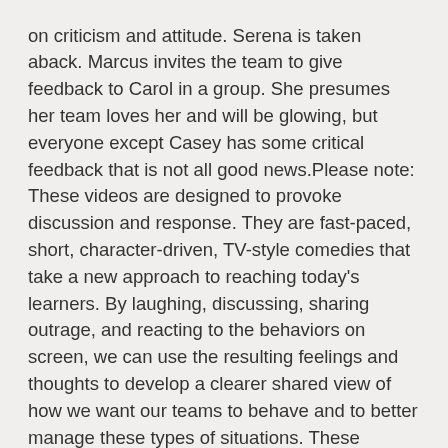on criticism and attitude. Serena is taken aback. Marcus invites the team to give feedback to Carol in a group. She presumes her team loves her and will be glowing, but everyone except Casey has some critical feedback that is not all good news.Please note: These videos are designed to provoke discussion and response. They are fast-paced, short, character-driven, TV-style comedies that take a new approach to reaching today's learners. By laughing, discussing, sharing outrage, and reacting to the behaviors on screen, we can use the resulting feelings and thoughts to develop a clearer shared view of how we want our teams to behave and to better manage these types of situations. These programs partner well with the "Switch On" and/or "Workplace Excellence" series, also by Seven Dimensions.This program does not include a quiz. To achieve a completed status in the learning management system, you must view the video in its entirety.